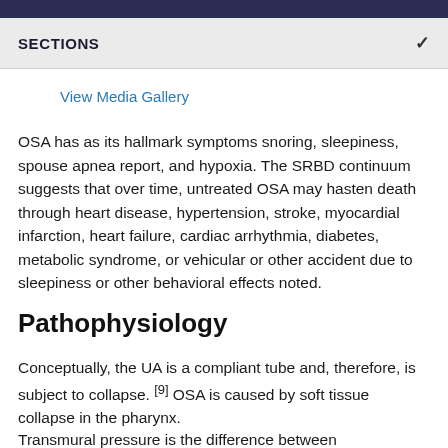SECTIONS
View Media Gallery
OSA has as its hallmark symptoms snoring, sleepiness, spouse apnea report, and hypoxia. The SRBD continuum suggests that over time, untreated OSA may hasten death through heart disease, hypertension, stroke, myocardial infarction, heart failure, cardiac arrhythmia, diabetes, metabolic syndrome, or vehicular or other accident due to sleepiness or other behavioral effects noted.
Pathophysiology
Conceptually, the UA is a compliant tube and, therefore, is subject to collapse. [9] OSA is caused by soft tissue collapse in the pharynx.
Transmural pressure is the difference between